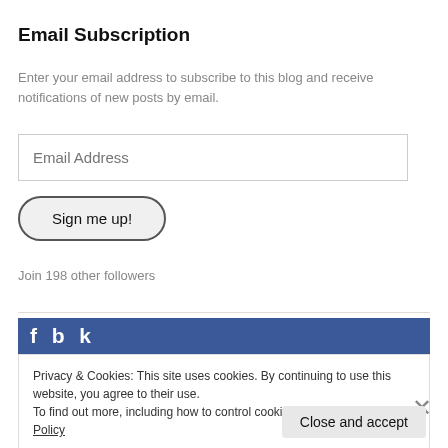Email Subscription
Enter your email address to subscribe to this blog and receive notifications of new posts by email.
Email Address
Sign me up!
Join 198 other followers
[Figure (screenshot): Facebook widget header bar (dark blue background with partial 'facebook' text in white)]
Privacy & Cookies: This site uses cookies. By continuing to use this website, you agree to their use.
To find out more, including how to control cookies, see here: Cookie Policy
Close and accept